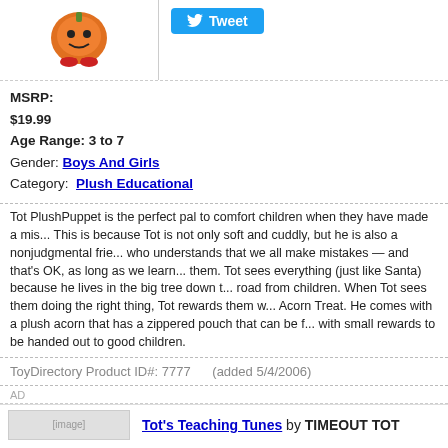[Figure (photo): Plush toy character (orange pumpkin-like figure with red sneakers) product image]
[Figure (other): Tweet button with Twitter bird icon]
MSRP: $19.99
Age Range: 3 to 7
Gender: Boys And Girls
Category: Plush Educational
Tot PlushPuppet is the perfect pal to comfort children when they have made a mis... This is because Tot is not only soft and cuddly, but he is also a nonjudgmental frie... who understands that we all make mistakes — and that's OK, as long as we learn... them. Tot sees everything (just like Santa) because he lives in the big tree down t... road from children. When Tot sees them doing the right thing, Tot rewards them w... Acorn Treat. He comes with a plush acorn that has a zippered pouch that can be f... with small rewards to be handed out to good children.
ToyDirectory Product ID#: 7777      (added 5/4/2006)
AD
Tot's Teaching Tunes by TIMEOUT TOT